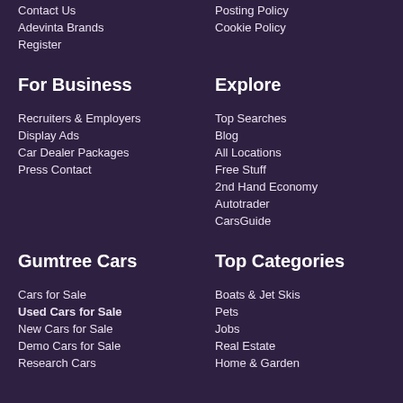Contact Us
Posting Policy
Adevinta Brands
Cookie Policy
Register
For Business
Explore
Recruiters & Employers
Top Searches
Display Ads
Blog
Car Dealer Packages
All Locations
Press Contact
Free Stuff
2nd Hand Economy
Autotrader
CarsGuide
Gumtree Cars
Top Categories
Cars for Sale
Boats & Jet Skis
Used Cars for Sale
Pets
New Cars for Sale
Jobs
Demo Cars for Sale
Real Estate
Research Cars
Home & Garden